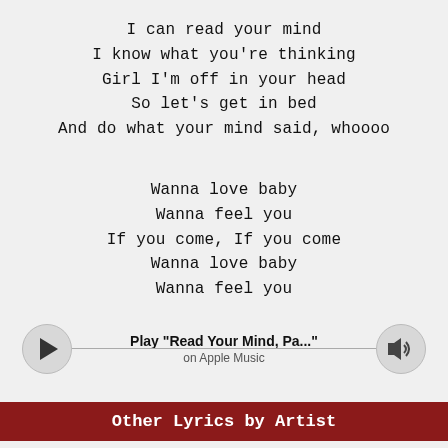I can read your mind
I know what you're thinking
Girl I'm off in your head
So let's get in bed
And do what your mind said, whoooo
Wanna love baby
Wanna feel you
If you come, If you come
Wanna love baby
Wanna feel you
[Figure (other): Apple Music player widget with play button circle on the left, a horizontal line, a volume/speaker icon circle on the right, and centered text reading Play "Read Your Mind, Pa..." on Apple Music]
Other Lyrics by Artist
Avant - Now You Got Someone